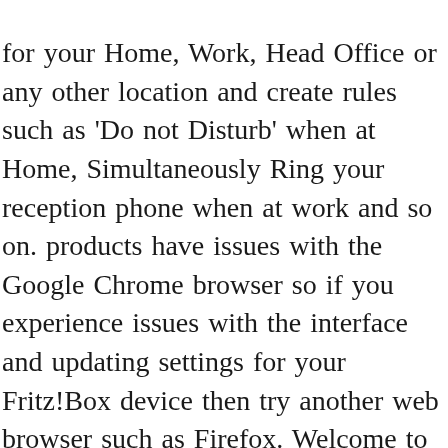for your Home, Work, Head Office or any other location and create rules such as 'Do not Disturb' when at Home, Simultaneously Ring your reception phone when at work and so on. products have issues with the Google Chrome browser so if you experience issues with the interface and updating settings for your Fritz!Box device then try another web browser such as Firefox. Welcome to Heroes.app Share your memories, connect with others, make new friends Login. Quick and Simple Installation - all you need to do is enter your Hero